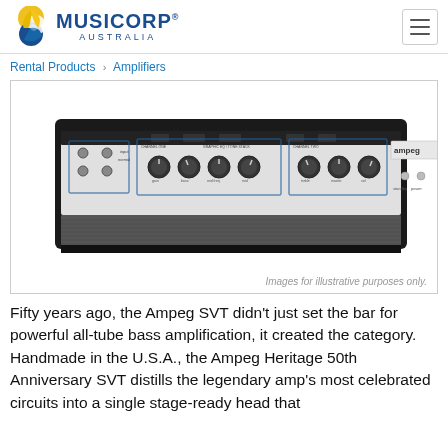MUSICORP® AUSTRALIA
Rental Products > Amplifiers
[Figure (photo): Ampeg Heritage 50th Anniversary SVT bass amplifier head, front panel view showing control knobs, switches, and Ampeg branding on a silver/black chassis.]
Images for illustrative purposes only.
Fifty years ago, the Ampeg SVT didn't just set the bar for powerful all-tube bass amplification, it created the category. Handmade in the U.S.A., the Ampeg Heritage 50th Anniversary SVT distills the legendary amp's most celebrated circuits into a single stage-ready head that